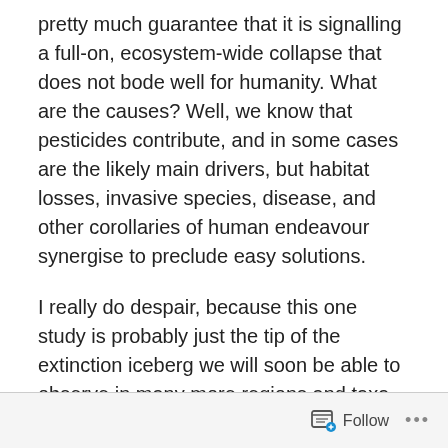pretty much guarantee that it is signalling a full-on, ecosystem-wide collapse that does not bode well for humanity. What are the causes? Well, we know that pesticides contribute, and in some cases are the likely main drivers, but habitat losses, invasive species, disease, and other corollaries of human endeavour synergise to preclude easy solutions.
I really do despair, because this one study is probably just the tip of the extinction iceberg we will soon be able to observe in many more regions and taxa. Perhaps our ecological Armageddon is closer at hand than even pessimists like me think it is.
CJA Bradshaw
Follow ···